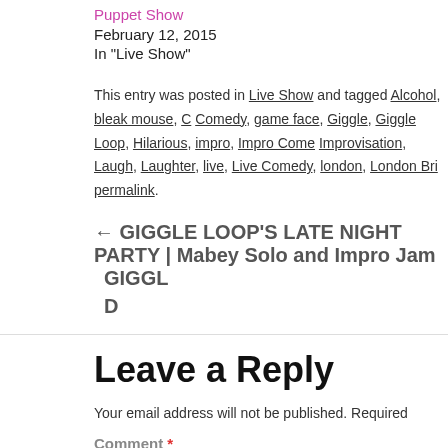Puppet Show
February 12, 2015
In "Live Show"
This entry was posted in Live Show and tagged Alcohol, bleak mouse, C Comedy, game face, Giggle, Giggle Loop, Hilarious, impro, Impro Come Improvisation, Laugh, Laughter, live, Live Comedy, london, London Bri permalink.
← GIGGLE LOOP'S LATE NIGHT PARTY | Mabey Solo and Impro Jam
GIGGL D
Leave a Reply
Your email address will not be published. Required
Comment *